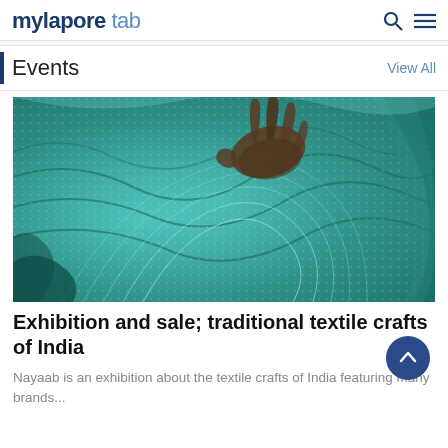mylapore tab
Events
View All
[Figure (photo): Close-up photograph of teal/turquoise traditional Indian textile fabric with intricate woven patterns, with a hand visible touching the fabric.]
Exhibition and sale; traditional textile crafts of India
Nayaab is an exhibition about the textile crafts of India featuring many brands...